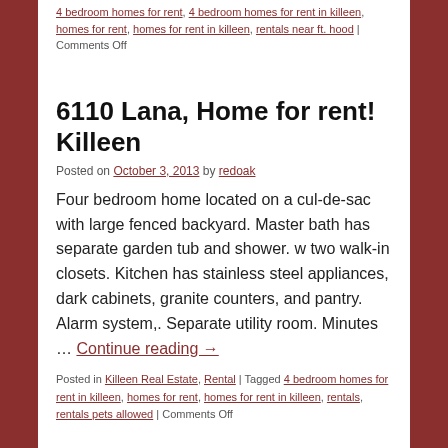4 bedroom homes for rent, 4 bedroom homes for rent in killeen, homes for rent, homes for rent in killeen, rentals near ft. hood | Comments Off
6110 Lana, Home for rent! Killeen
Posted on October 3, 2013 by redoak
Four bedroom home located on a cul-de-sac with large fenced backyard. Master bath has separate garden tub and shower. w two walk-in closets. Kitchen has stainless steel appliances, dark cabinets, granite counters, and pantry. Alarm system,. Separate utility room. Minutes … Continue reading →
Posted in Killeen Real Estate, Rental | Tagged 4 bedroom homes for rent in killeen, homes for rent, homes for rent in killeen, rentals, rentals pets allowed | Comments Off
6710 Modesto, Killeen, Home for